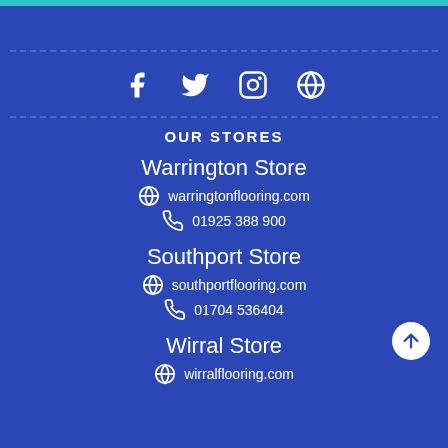[Figure (infographic): Social media icons row: Facebook, Twitter, Instagram, WordPress]
OUR STORES
Warrington Store
warringtonflooring.com
01925 388 900
Southport Store
southportflooring.com
01704 536404
Wirral Store
wirralflooring.com